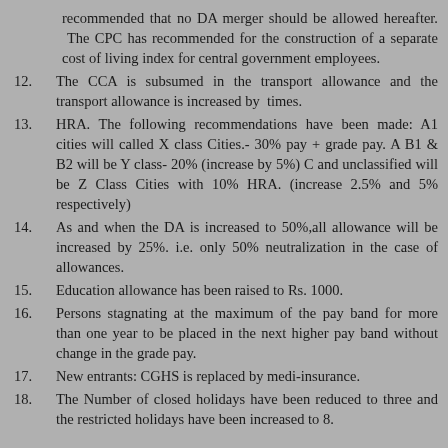recommended that no DA merger should be allowed hereafter. The CPC has recommended for the construction of a separate cost of living index for central government employees.
12. The CCA is subsumed in the transport allowance and the transport allowance is increased by times.
13. HRA. The following recommendations have been made: A1 cities will called X class Cities.- 30% pay + grade pay. A B1 & B2 will be Y class- 20% (increase by 5%) C and unclassified will be Z Class Cities with 10% HRA. (increase 2.5% and 5% respectively)
14. As and when the DA is increased to 50%,all allowance will be increased by 25%. i.e. only 50% neutralization in the case of allowances.
15. Education allowance has been raised to Rs. 1000.
16. Persons stagnating at the maximum of the pay band for more than one year to be placed in the next higher pay band without change in the grade pay.
17. New entrants: CGHS is replaced by medi-insurance.
18. The Number of closed holidays have been reduced to three and the restricted holidays have been increased to 8.